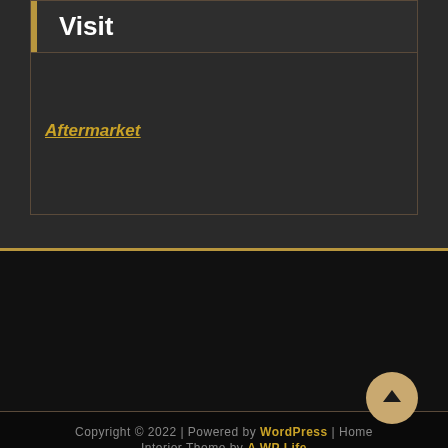Visit
Aftermarket
Copyright © 2022 | Powered by WordPress | Home Interior Theme by A WP Life